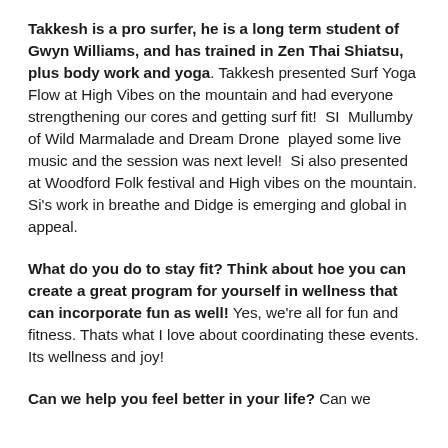Takkesh is a pro surfer, he is a long term student of Gwyn Williams, and has trained in Zen Thai Shiatsu, plus body work and yoga. Takkesh presented Surf Yoga Flow at High Vibes on the mountain and had everyone strengthening our cores and getting surf fit!  SI  Mullumby of Wild Marmalade and Dream Drone  played some live music and the session was next level!  Si also presented at Woodford Folk festival and High vibes on the mountain. Si's work in breathe and Didge is emerging and global in appeal.
What do you do to stay fit? Think about hoe you can create a great program for yourself in wellness that can incorporate fun as well! Yes, we're all for fun and fitness. Thats what I love about coordinating these events. Its wellness and joy!
Can we help you feel better in your life? Can we